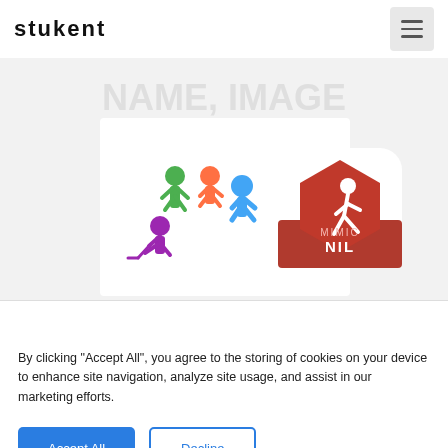[Figure (logo): Stukent logo in bold black lowercase letters]
[Figure (screenshot): Banner showing 'NAME, IMAGE & LIKENESS - PERSONAL BRANDING STRATEGIES FOR STUDENT ATHLETES' with colorful athlete silhouettes and a red hexagonal MIMIC NIL app icon]
By clicking “Accept All”, you agree to the storing of cookies on your device to enhance site navigation, analyze site usage, and assist in our marketing efforts.
Accept All
Decline